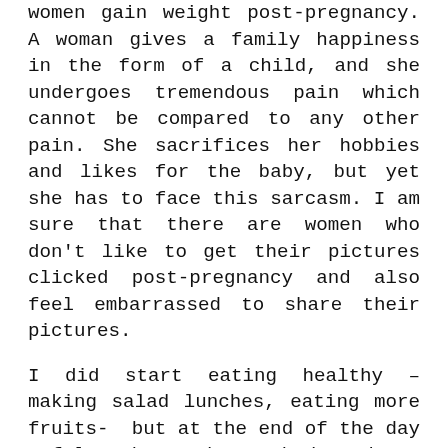women gain weight post-pregnancy. A woman gives a family happiness in the form of a child, and she undergoes tremendous pain which cannot be compared to any other pain. She sacrifices her hobbies and likes for the baby, but yet she has to face this sarcasm. I am sure that there are women who don't like to get their pictures clicked post-pregnancy and also feel embarrassed to share their pictures.
I did start eating healthy – making salad lunches, eating more fruits-  but at the end of the day I felt exhausted as I had to do so much, which needed a lot of energy. This is when I realized that staying fit is more important than following something crazy.
We Indian mothers want to give the best to our families and this comes first before everything.